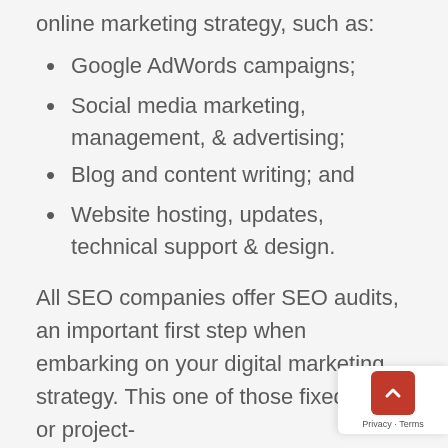online marketing strategy, such as:
Google AdWords campaigns;
Social media marketing, management, & advertising;
Blog and content writing; and
Website hosting, updates, technical support & design.
All SEO companies offer SEO audits, an important first step when embarking on your digital marketing strategy. This one of those fixed prices or project-